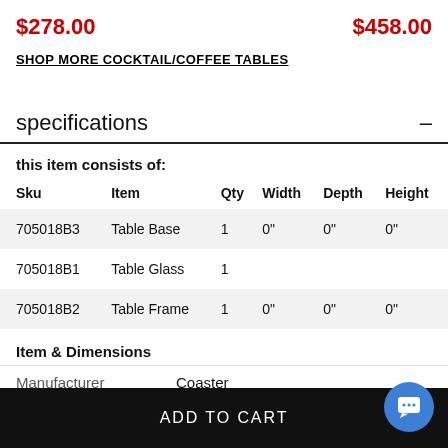$278.00   $458.00
SHOP MORE COCKTAIL/COFFEE TABLES
specifications
this item consists of:
| Sku | Item | Qty | Width | Depth | Height |
| --- | --- | --- | --- | --- | --- |
| 705018B3 | Table Base | 1 | 0" | 0" | 0" |
| 705018B1 | Table Glass | 1 |  |  |  |
| 705018B2 | Table Frame | 1 | 0" | 0" | 0" |
Item & Dimensions
Manufacturer   Coaster
ADD TO CART